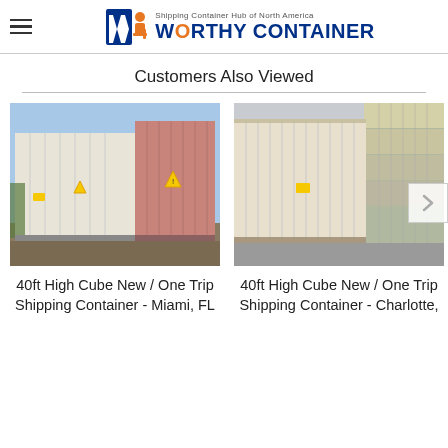[Figure (logo): Worthy Container logo with hamburger menu icon. Logo shows 'Shipping Container Hub of North America' tagline above 'WORTHY CONTAINER' text in blue and orange.]
Customers Also Viewed
[Figure (photo): 40ft High Cube shipping container shown from the side, white and rusty pink/brown color, outdoors on gravel.]
[Figure (photo): 40ft High Cube new shipping container, cream/tan color, shown from the side in a container yard.]
40ft High Cube New / One Trip Shipping Container - Miami, FL
40ft High Cube New / One Trip Shipping Container - Charlotte,